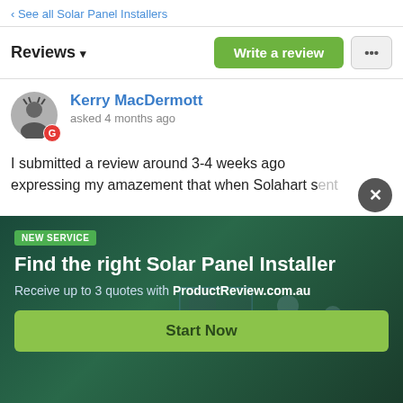‹ See all Solar Panel Installers
Reviews ▾
Kerry MacDermott
asked 4 months ago
I submitted a review around 3-4 weeks ago expressing my amazement that when Solahart sent
[Figure (screenshot): Advertisement overlay: NEW SERVICE - Find the right Solar Panel Installer. Receive up to 3 quotes with ProductReview.com.au. Start Now button.]
This was never mentioned either when making
but these were already detected by Sales Staff.